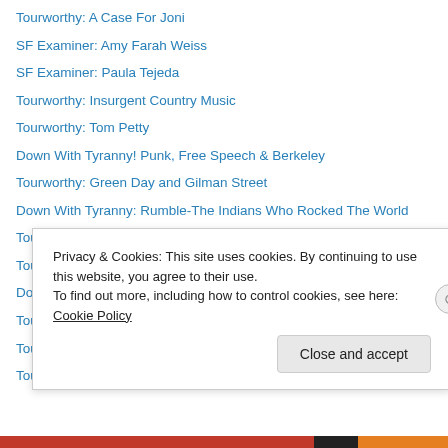Tourworthy: A Case For Joni
SF Examiner: Amy Farah Weiss
SF Examiner: Paula Tejeda
Tourworthy: Insurgent Country Music
Tourworthy: Tom Petty
Down With Tyranny! Punk, Free Speech & Berkeley
Tourworthy: Green Day and Gilman Street
Down With Tyranny: Rumble-The Indians Who Rocked The World
Tourworthy: Mavis Staples & Buffy Sainte-Marie
Tourworthy: Amadou et Mariam
Down With Tyranny: Mumia Abu-Jamal 2017 book
Tourworthy: Latinas and American Music
Tourworthy: Prophets of Rage
Tourworthy: Chicano Batman
Privacy & Cookies: This site uses cookies. By continuing to use this website, you agree to their use. To find out more, including how to control cookies, see here: Cookie Policy
Close and accept